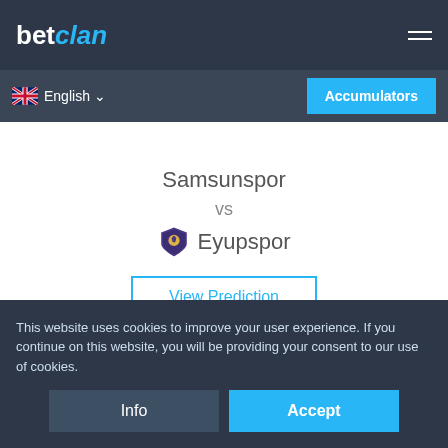betclan
English
Accumulators
Samsunspor vs Eyupspor
View Prediction
Turkey 1 Lig
Time: 19:45    Date: 2022-09-29
This website uses cookies to improve your user experience. If you continue on this website, you will be providing your consent to our use of cookies.
Info
Accept